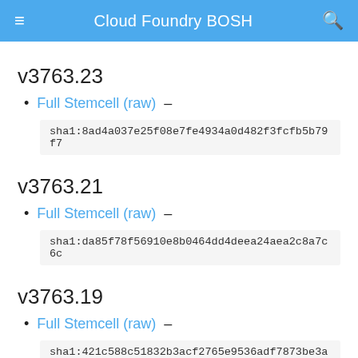Cloud Foundry BOSH
v3763.23
Full Stemcell (raw) –
sha1:8ad4a037e25f08e7fe4934a0d482f3fcfb5b79f7
v3763.21
Full Stemcell (raw) –
sha1:da85f78f56910e8b0464dd4deea24aea2c8a7c6c
v3763.19
Full Stemcell (raw) –
sha1:421c588c51832b3acf2765e9536adf7873be3a32